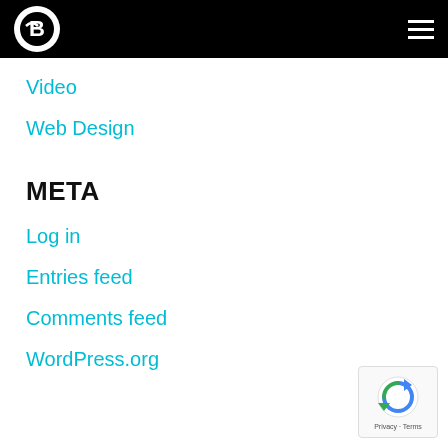B logo and hamburger menu
Video
Web Design
META
Log in
Entries feed
Comments feed
WordPress.org
[Figure (logo): reCAPTCHA badge with Privacy and Terms text]